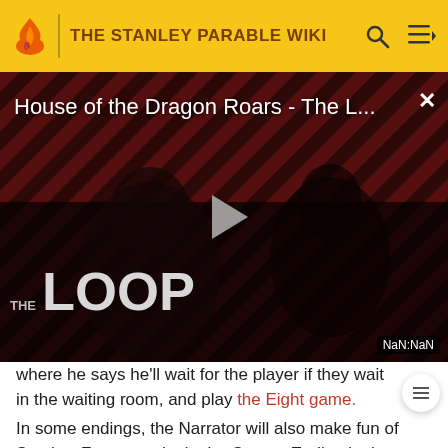THE STANLEY PARABLE WIKI
[Figure (screenshot): Video player thumbnail showing 'House of the Dragon Roars - The L...' with a play button, 'THE LOOP' text overlay, and 'NaN:NaN' duration badge on a dark red striped background]
where he says he'll wait for the player if they wait in the waiting room, and play the Eight game.
In some endings, the Narrator will also make fun of Stanley. For example, in the Games Ending in the original